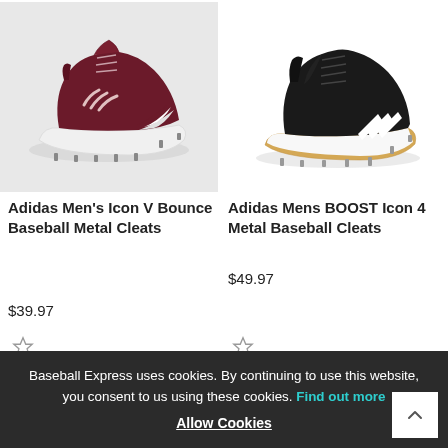[Figure (photo): Adidas Men's Icon V Bounce Baseball Metal Cleats - maroon and white cleat on gray background with star/favorite icon]
[Figure (photo): Adidas Mens BOOST Icon 4 Metal Baseball Cleats - black and white cleat on white background with star/favorite icon]
Adidas Men's Icon V Bounce Baseball Metal Cleats
$39.97
Adidas Mens BOOST Icon 4 Metal Baseball Cleats
$49.97
Baseball Express uses cookies. By continuing to use this website, you consent to us using these cookies. Find out more
Allow Cookies